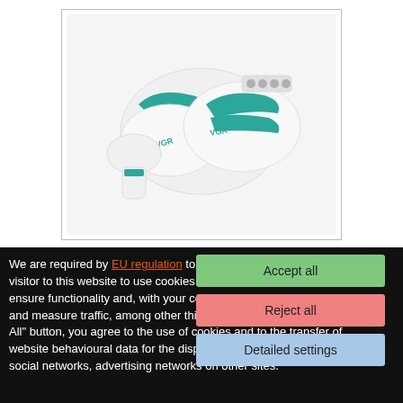[Figure (photo): VGR branded 3-in-1 electric epilator device in white and teal/green color, showing multiple heads/attachments]
Price from: 144.07 $
3 in 1 Electric Epilator machine For Women Rechargeable hair removal bikini Facial Leg Depilation foot dead skin remover DS
We are required by EU regulation to obtain consent from every visitor to this website to use cookies. This website uses cookies to ensure functionality and, with your consent, to personalise content and measure traffic, among other things. By clicking on the "Accept All" button, you agree to the use of cookies and to the transfer of website behavioural data for the display of targeted advertising on social networks, advertising networks on other sites.